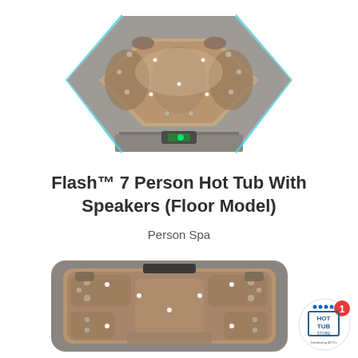[Figure (photo): Top-down aerial view of a Flash 7 Person Hot Tub with hexagonal shape, brown/tan interior with multiple jets and seating areas, gray cabinet exterior with blue LED light strip]
Flash™ 7 Person Hot Tub With Speakers (Floor Model)
Person Spa
[Figure (photo): Top-down aerial view of the same hot tub model showing interior seating arrangement, jets, and controls from above]
[Figure (logo): Hot Tub Store logo badge with red circle and number 1]